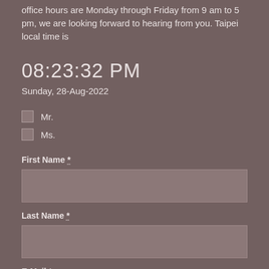office hours are Monday through Friday from 9 am to 5 pm, we are looking forward to hearing from you. Taipei local time is
08:23:32 PM
Sunday, 28-Aug-2022
Mr.
Ms.
First Name *
Last Name *
E-Mail *